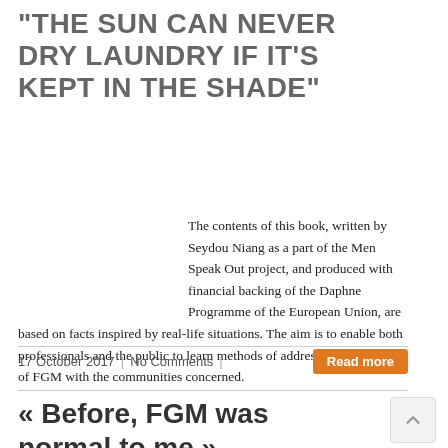“THE SUN CAN NEVER DRY LAUNDRY IF IT’S KEPT IN THE SHADE”
The contents of this book, written by Seydou Niang as a part of the Men Speak Out project, and produced with financial backing of the Daphne Programme of the European Union, are based on facts inspired by real-life situations. The aim is to enable both professionals and the public to learn methods of addressing the question of FGM with the communities concerned.
17 October 2017  |  No Comments  |
Read more
« Before, FGM was normal to me »